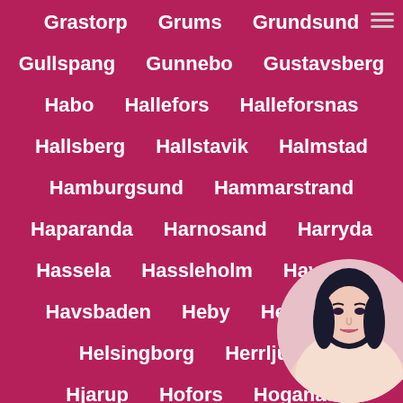Grastorp Grums Grundsund
Gullspang Gunnebo Gustavsberg
Habo Hallefors Halleforsnas
Hallsberg Hallstavik Halmstad
Hamburgsund Hammarstrand
Haparanda Harnosand Harryda
Hassela Hassleholm Haverdal
Havsbaden Heby Hedemora
Helsingborg Herrljunga
Hjarup Hofors Hoganas
Holm Holo Hoor Horby
[Figure (photo): Circular photo of a woman in bottom-right corner]